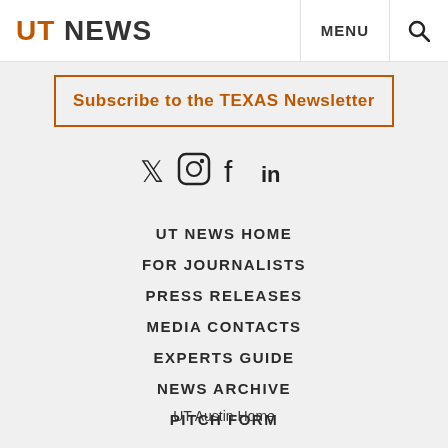UT NEWS | MENU | 🔍
Subscribe to the TEXAS Newsletter
[Figure (other): Social media icons: Twitter (bird), Instagram, Facebook (f), LinkedIn (in)]
UT NEWS HOME
FOR JOURNALISTS
PRESS RELEASES
MEDIA CONTACTS
EXPERTS GUIDE
NEWS ARCHIVE
PITCH FORM
UT Austin Home